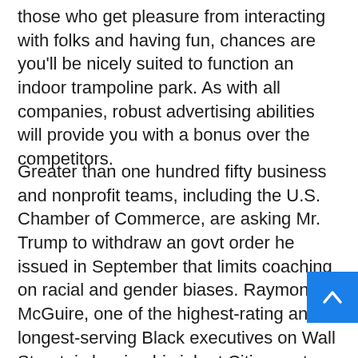those who get pleasure from interacting with folks and having fun, chances are you'll be nicely suited to function an indoor trampoline park. As with all companies, robust advertising abilities will provide you with a bonus over the competitors.
Greater than one hundred fifty business and nonprofit teams, including the U.S. Chamber of Commerce, are asking Mr. Trump to withdraw an govt order he issued in September that limits coaching on racial and gender biases. Raymond J. McGuire, one of the highest-rating and longest-serving Black executives on Wall Street, is leaving his job at Citigroup to run for mayor of New York Metropolis And because the clock runs out on a Brexit deal — for real this time — Prime Minister Boris Johnson of Britain is working out of options